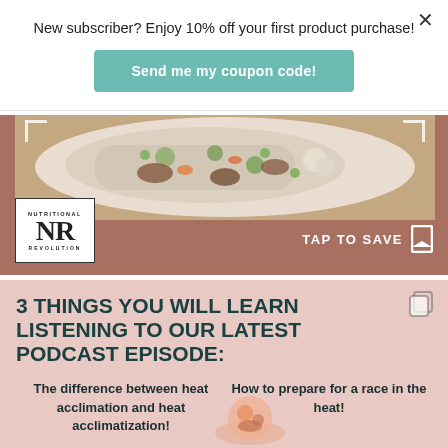New subscriber? Enjoy 10% off your first product purchase!
Send me my coupon code!
[Figure (photo): Food photo showing a plate with mixed rice, vegetables, and meat on a terracotta/brown background with Nutritional Revolution NR logo in bottom left and TAP TO SAVE bookmark icon in bottom right]
3 THINGS YOU WILL LEARN LISTENING TO OUR LATEST PODCAST EPISODE:
The difference between heat acclimation and heat acclimatization!
How to prepare for a race in the heat!